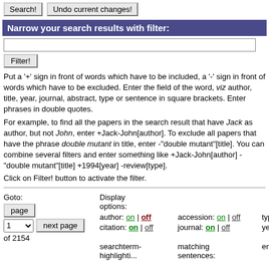Search! | Undo current changes!
Narrow your search results with filter:
Put a '+' sign in front of words which have to be included, a '-' sign in front of words which have to be excluded. Enter the field of the word, viz author, title, year, journal, abstract, type or sentence in square brackets. Enter phrases in double quotes.
For example, to find all the papers in the search result that have Jack as author, but not John, enter +Jack-John[author]. To exclude all papers that have the phrase double mutant in title, enter -"double mutant"[title]. You can combine several filters and enter something like +Jack-John[author] -"double mutant"[title] +1994[year] -review[type].
Click on Filter! button to activate the filter.
Goto: page 1 of 2154 next page
Display options: author: on | off  accession: on | off  type: on | off  abstract: on | off  citation: on | off  journal: on | off  year: on | off  supplement: on | off  searchterm-highlighting  matching sentences:  entries/page: